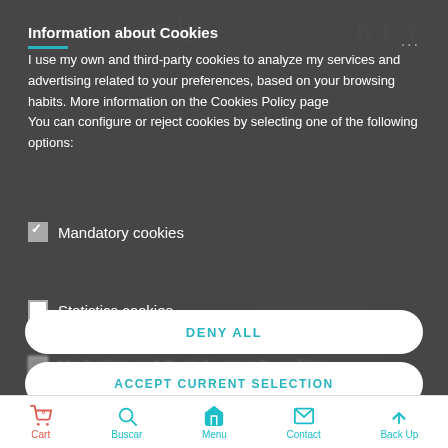Information about Cookies
I use my own and third-party cookies to analyze my services and advertising related to your preferences, based on your browsing habits. More information on the Cookies Policy page You can configure or reject cookies by selecting one of the following options:
☑ Mandatory cookies
☐ Statistics cookies
▪ Marketing and Social network cookies (partially blurred)
DENY ALL
ACCEPT CURRENT SELECTION
Cart  Buscar  Menu  Contact  Back Up